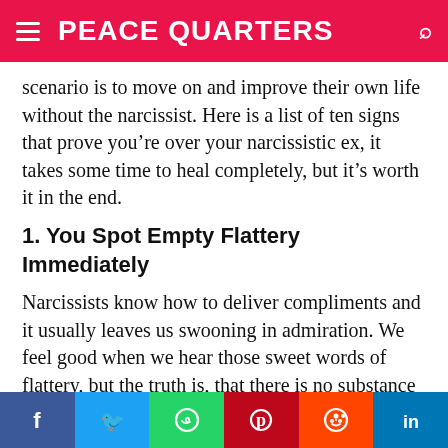PEACE QUARTERS
scenario is to move on and improve their own life without the narcissist. Here is a list of ten signs that prove you’re over your narcissistic ex, it takes some time to heal completely, but it’s worth it in the end.
1. You Spot Empty Flattery Immediately
Narcissists know how to deliver compliments and it usually leaves us swooning in admiration. We feel good when we hear those sweet words of flattery, but the truth is, that there is no substance